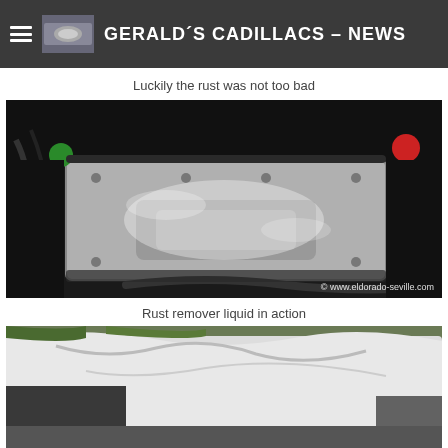GERALD´S CADILLACS - NEWS
Luckily the rust was not too bad
[Figure (photo): Close-up photo of a car engine component, a large metallic bracket or heat shield that appears covered with white rust remover liquid residue, surrounded by dark engine bay components including hoses and wiring. Watermark reads '© www.eldorado-seville.com']
Rust remover liquid in action
[Figure (photo): Partial photo showing a car part covered with white plastic sheeting/bags, partially visible at bottom of page.]